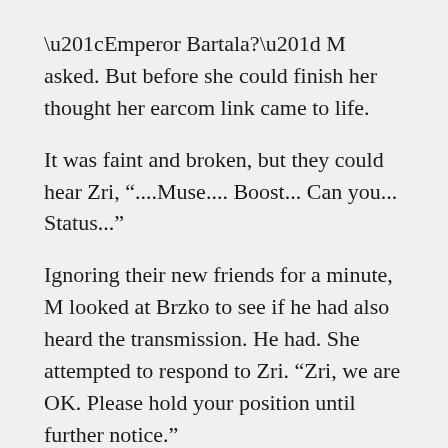“Emperor Bartala?” M asked. But before she could finish her thought her earcom link came to life.
It was faint and broken, but they could hear Zri, “....Muse.... Boost... Can you...  Status...”
Ignoring their new friends for a minute, M looked at Brzko to see if he had also heard the transmission. He had. She attempted to respond to Zri. “Zri, we are OK. Please hold your position until further notice.”
“....Af...tive.”
She looked back toward Agent Qmkos and the Muse of Banter.